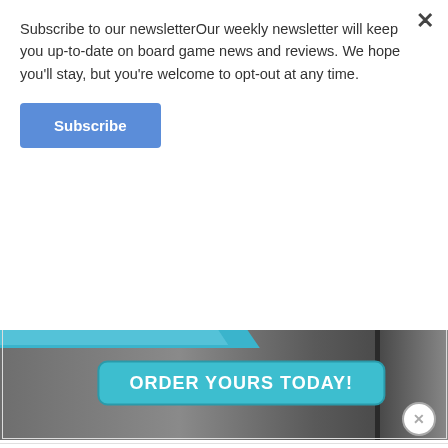Subscribe to our newsletterOur weekly newsletter will keep you up-to-date on board game news and reviews. We hope you'll stay, but you're welcome to opt-out at any time.
Subscribe
[Figure (photo): Banner image with teal background showing 'ORDER YOURS TODAY!' button text on a board game themed background]
Recent Posts
The Hunger Review
Aug 23, 2022